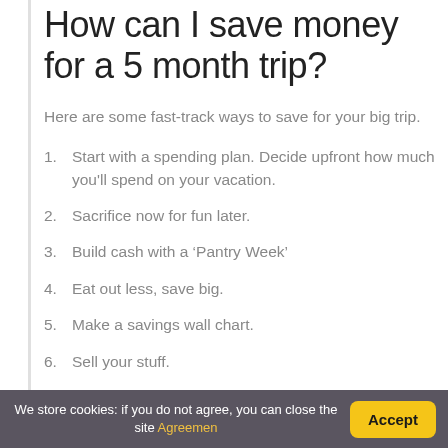How can I save money for a 5 month trip?
Here are some fast-track ways to save for your big trip.
1. Start with a spending plan. Decide upfront how much you'll spend on your vacation.
2. Sacrifice now for fun later.
3. Build cash with a ‘Pantry Week’
4. Eat out less, save big.
5. Make a savings wall chart.
6. Sell your stuff.
7. Use your tax refund... now.
We store cookies: if you do not agree, you can close the site Agreement